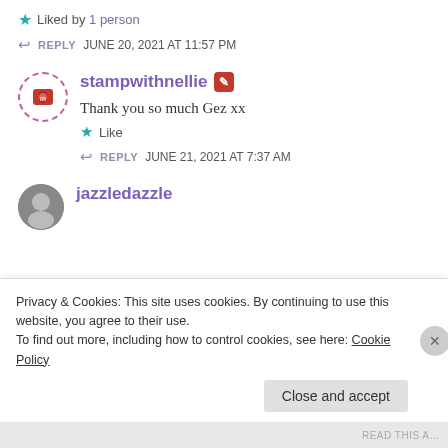Liked by 1 person
REPLY  JUNE 20, 2021 AT 11:57 PM
stampwithnellie
Thank you so much Gez xx
Like
REPLY  JUNE 21, 2021 AT 7:37 AM
jazzledazzle
Privacy & Cookies: This site uses cookies. By continuing to use this website, you agree to their use.
To find out more, including how to control cookies, see here: Cookie Policy
Close and accept